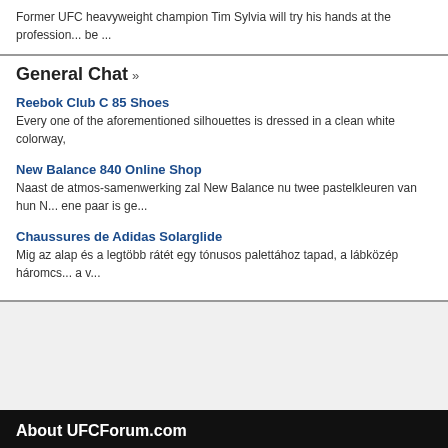Former UFC heavyweight champion Tim Sylvia will try his hands at the profession... be ...
General Chat »
Reebok Club C 85 Shoes
Every one of the aforementioned silhouettes is dressed in a clean white colorway,
New Balance 840 Online Shop
Naast de atmos-samenwerking zal New Balance nu twee pastelkleuren van hun N... ene paar is ge...
Chaussures de Adidas Solarglide
Mig az alap és a legtöbb rátét egy tónusos palettához tapad, a lábközép háromcs... a v...
About UFCForum.com